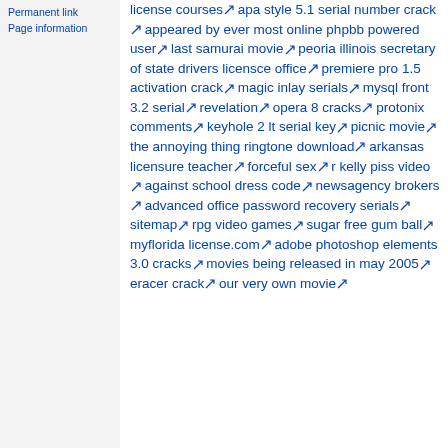Permanent link
Page information
license courses 🔗 apa style 5.1 serial number crack 🔗 appeared by ever most online phpbb powered user 🔗 last samurai movie 🔗 peoria illinois secretary of state drivers licensce office 🔗 premiere pro 1.5 activation crack 🔗 magic inlay serials 🔗 mysql front 3.2 serial 🔗 revelation 🔗 opera 8 cracks 🔗 protonix comments 🔗 keyhole 2 lt serial key 🔗 picnic movie 🔗 the annoying thing ringtone download 🔗 arkansas licensure teacher 🔗 forceful sex 🔗 r kelly piss video 🔗 against school dress code 🔗 newsagency brokers 🔗 advanced office password recovery serials 🔗 sitemap 🔗 rpg video games 🔗 sugar free gum ball 🔗 myflorida license.com 🔗 adobe photoshop elements 3.0 cracks 🔗 movies being released in may 2005 🔗 eracer crack 🔗 our very own movie 🔗